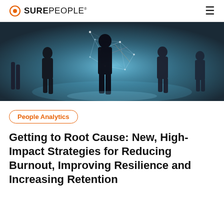SUREPEOPLE
[Figure (photo): Dark atmospheric scene with silhouettes of people standing around a glowing blue geometric wireframe network structure floating in the air, in a large open space with blue-tinted lighting.]
People Analytics
Getting to Root Cause: New, High-Impact Strategies for Reducing Burnout, Improving Resilience and Increasing Retention